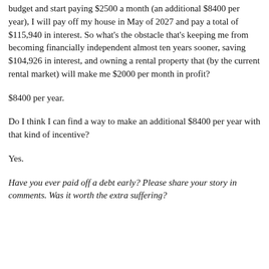budget and start paying $2500 a month (an additional $8400 per year), I will pay off my house in May of 2027 and pay a total of $115,940 in interest. So what's the obstacle that's keeping me from becoming financially independent almost ten years sooner, saving $104,926 in interest, and owning a rental property that (by the current rental market) will make me $2000 per month in profit?
$8400 per year.
Do I think I can find a way to make an additional $8400 per year with that kind of incentive?
Yes.
Have you ever paid off a debt early? Please share your story in comments. Was it worth the extra suffering?